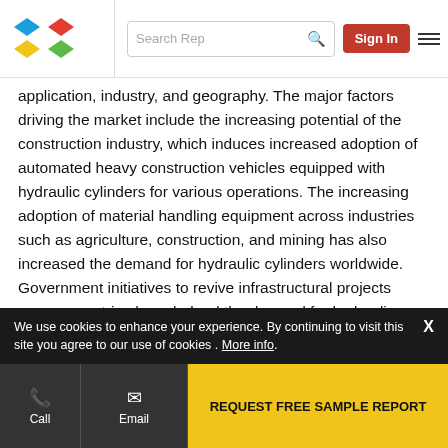Search Rep | Sign In
application, industry, and geography. The major factors driving the market include the increasing potential of the construction industry, which induces increased adoption of automated heavy construction vehicles equipped with hydraulic cylinders for various operations. The increasing adoption of material handling equipment across industries such as agriculture, construction, and mining has also increased the demand for hydraulic cylinders worldwide. Government initiatives to revive infrastructural projects across countries have helped the demand for hydraulic cylinders to grow, owing to their increased adoption in construction and material handling industries. Increasing ... APAC, ... exploration activities have
We use cookies to enhance your experience. By continuing to visit this site you agree to our use of cookies . More info.
Call  Email  REQUEST FREE SAMPLE REPORT